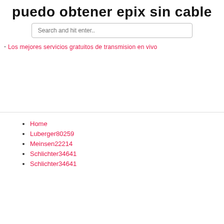puedo obtener epix sin cable
[Figure (screenshot): Search input box with placeholder text 'Search and hit enter..']
Los mejores servicios gratuitos de transmision en vivo
Home
Luberger80259
Meinsen22214
Schlichter34641
Schlichter34641